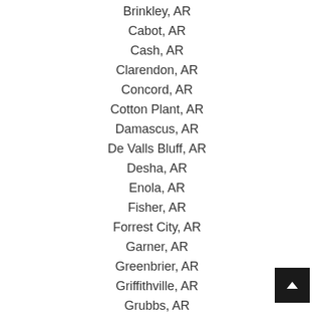Brinkley, AR
Cabot, AR
Cash, AR
Clarendon, AR
Concord, AR
Cotton Plant, AR
Damascus, AR
De Valls Bluff, AR
Desha, AR
Enola, AR
Fisher, AR
Forrest City, AR
Garner, AR
Greenbrier, AR
Griffithville, AR
Grubbs, AR
Guy, AR
Hazen, AR